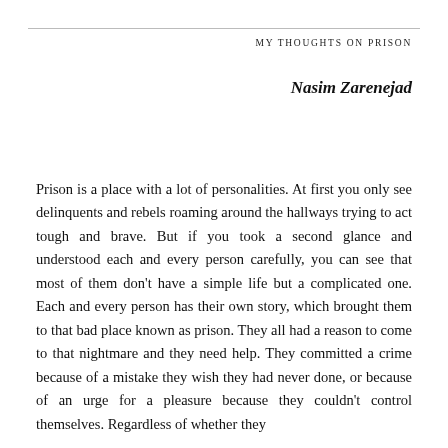MY THOUGHTS ON PRISON
Nasim Zarenejad
Prison is a place with a lot of personalities. At first you only see delinquents and rebels roaming around the hallways trying to act tough and brave. But if you took a second glance and understood each and every person carefully, you can see that most of them don't have a simple life but a complicated one. Each and every person has their own story, which brought them to that bad place known as prison. They all had a reason to come to that nightmare and they need help. They committed a crime because of a mistake they wish they had never done, or because of an urge for a pleasure because they couldn't control themselves. Regardless of whether they